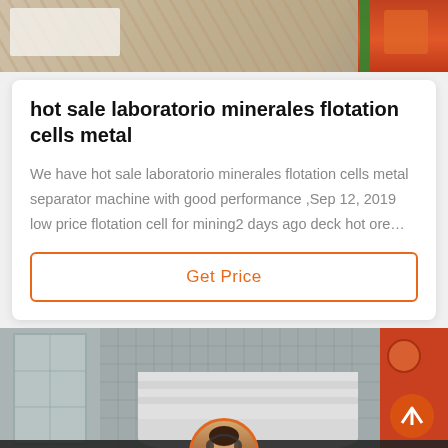[Figure (photo): Top portion of an industrial/mining equipment image with orange and white elements visible]
hot sale laboratorio minerales flotation cells metal
We have hot sale laboratorio minerales flotation cells metal separator machine with good performance ,Sep 12, 2019 low price flotation cell for mining2 days ago deck hot ore…
Get Price
[Figure (photo): Industrial facility with large cylindrical tanks/equipment and orange machinery, with a customer service representative chat bar at the bottom showing Leave Message and Chat Online options]